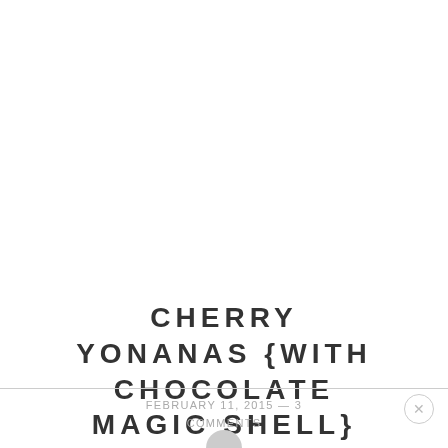CHERRY YONANAS {WITH CHOCOLATE MAGIC SHELL}
FEBRUARY 11, 2015 —  3 COMMENTS